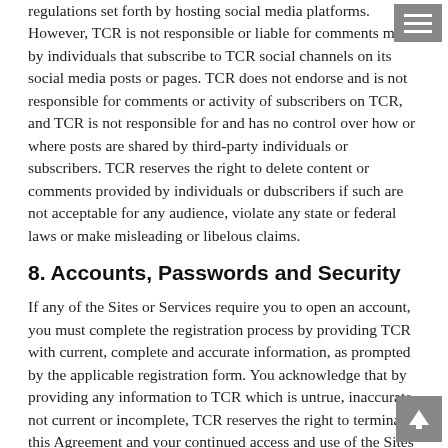regulations set forth by hosting social media platforms. However, TCR is not responsible or liable for comments made by individuals that subscribe to TCR social channels on its social media posts or pages. TCR does not endorse and is not responsible for comments or activity of subscribers on TCR, and TCR is not responsible for and has no control over how or where posts are shared by third-party individuals or subscribers. TCR reserves the right to delete content or comments provided by individuals or dubscribers if such are not acceptable for any audience, violate any state or federal laws or make misleading or libelous claims.
8. Accounts, Passwords and Security
If any of the Sites or Services require you to open an account, you must complete the registration process by providing TCR with current, complete and accurate information, as prompted by the applicable registration form. You acknowledge that by providing any information to TCR which is untrue, inaccurate, not current or incomplete, TCR reserves the right to terminate this Agreement and your continued access and use of the Sites and the Services.